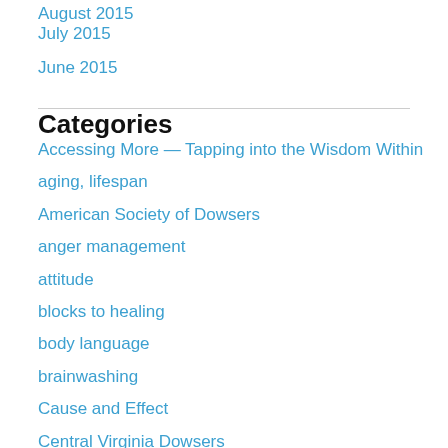August 2015
July 2015
June 2015
Categories
Accessing More — Tapping into the Wisdom Within
aging, lifespan
American Society of Dowsers
anger management
attitude
blocks to healing
body language
brainwashing
Cause and Effect
Central Virginia Dowsers
clearing non-beneficial energies
compassion
curses